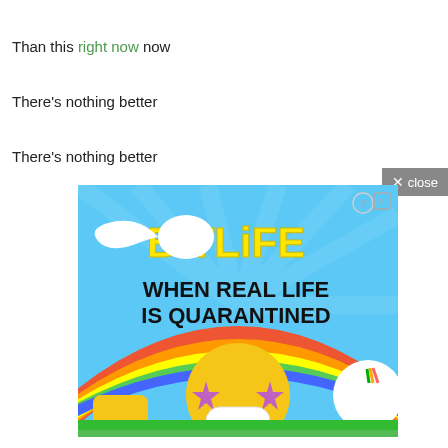Than this right now now
There's nothing better
There's nothing better
[Figure (screenshot): BitLife advertisement banner showing sperm logo, yellow text 'BitLife' on blue background, bold text 'WHEN REAL LIFE IS QUARANTINED', emoji face with star eyes and mask, thumbs up emoji, unicorn, rainbow]
× close